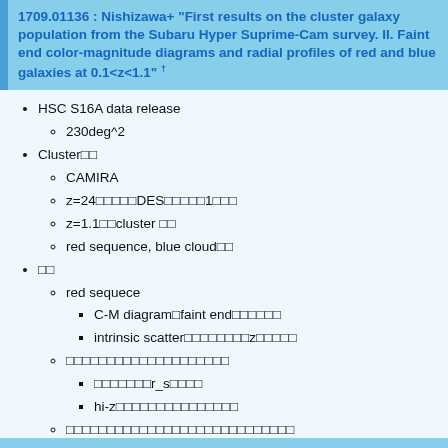1709.01136 : Nishizawa+ "First results on the cluster galaxy population from the Subaru Hyper Suprime-Cam survey. II. Faint end color-magnitude diagrams and radial profiles of red and blue galaxies at 0.1<z<1.1" †
HSC S16A data release
230deg^2
Cluster□□
CAMIRA
z=24□□□□□DES□□□□□1□□□
z=1.1□□cluster □□
red sequence, blue cloud□□
□□
red sequece
C-M diagram□faint end□□□□□□
intrinsic scatter□□□□□□□□□z□□□□□
□□□□□□□□□□□□□□□□□□□□
□□□□□□□r_s□□□□
hi-z□□□□□□□□□□□□□□□□
□□□□□□□□□□□□□□□□□□□□□□□□□□□□